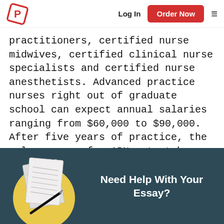Log In | Order Now | [menu]
practitioners, certified nurse midwives, certified clinical nurse specialists and certified nurse anesthetists. Advanced practice nurses right out of graduate school can expect annual salaries ranging from $60,000 to $90,000. After five years of practice, the salary range for APNs stretches from $60,000 to $100,000 a year. APNs are in very high demand in the U.S. and Canada.
[Figure (infographic): Dark teal banner with an illustration of a notebook with a pen on a yellow circle background, and the text 'Need Help With Your Essay?']